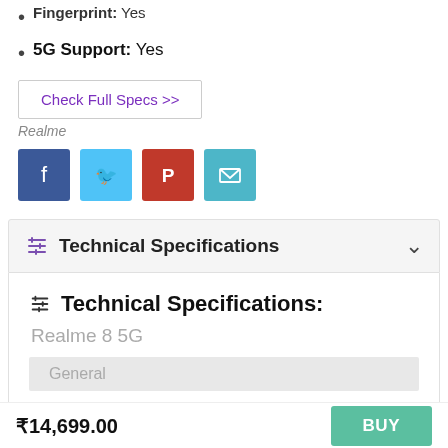Fingerprint: Yes
5G Support: Yes
Check Full Specs >>
Realme
[Figure (infographic): Social share icons: Facebook, Twitter, Pinterest, Email]
Technical Specifications
Technical Specifications:
Realme 8 5G
General
₹14,699.00  BUY